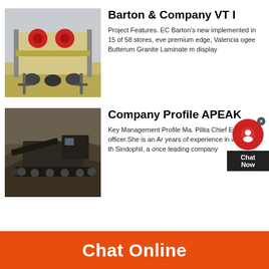[Figure (photo): Industrial crushing/screening machine on wheels, yellowish-beige color, outdoors]
Barton & Company VT I
Project Features. EC Barton's new implemented in 15 of 58 stores, eve premium edge, Valencia ogee Butterum Granite Laminate m display
[Figure (photo): Mining/quarrying machine on rocky ground, dark colored, aerial view]
Company Profile APEAK
Key Management Profile Ma. Pilita Chief Executive officer.She is an Ar years of experience in working in th Sindophil, a once leading company
Chat Online